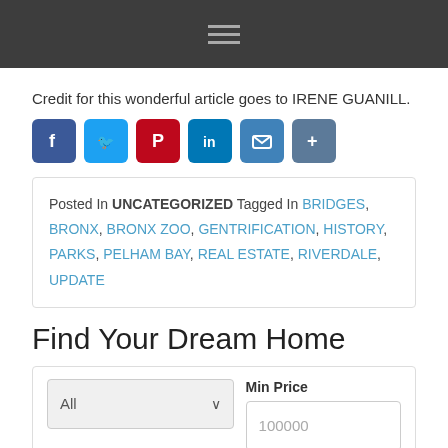Navigation menu icon
Credit for this wonderful article goes to IRENE GUANILL.
[Figure (infographic): Social sharing icons: Facebook, Twitter, Pinterest, LinkedIn, Email, Share]
Posted In UNCATEGORIZED Tagged In BRIDGES, BRONX, BRONX ZOO, GENTRIFICATION, HISTORY, PARKS, PELHAM BAY, REAL ESTATE, RIVERDALE, UPDATE
Find Your Dream Home
Search form with dropdown: All; Min Price: 100000; Max Price and Min Bedrooms fields below